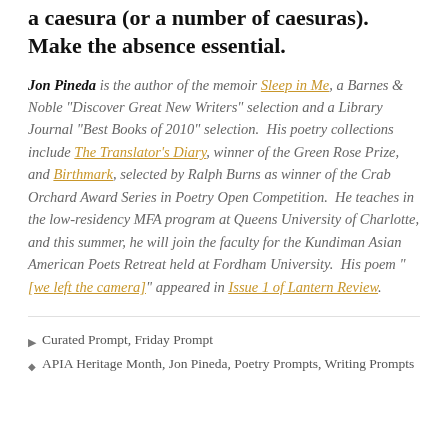a caesura (or a number of caesuras). Make the absence essential.
Jon Pineda is the author of the memoir Sleep in Me, a Barnes & Noble "Discover Great New Writers" selection and a Library Journal "Best Books of 2010" selection. His poetry collections include The Translator's Diary, winner of the Green Rose Prize, and Birthmark, selected by Ralph Burns as winner of the Crab Orchard Award Series in Poetry Open Competition. He teaches in the low-residency MFA program at Queens University of Charlotte, and this summer, he will join the faculty for the Kundiman Asian American Poets Retreat held at Fordham University. His poem "[we left the camera]" appeared in Issue 1 of Lantern Review.
Curated Prompt, Friday Prompt
APIA Heritage Month, Jon Pineda, Poetry Prompts, Writing Prompts